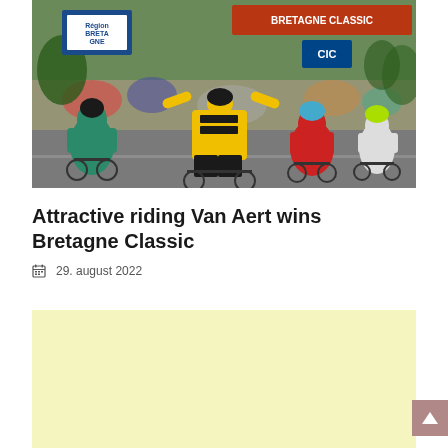[Figure (photo): Cycling race finish photo showing Wout Van Aert of Jumbo-Visma team in yellow/black jersey with arms raised in victory, surrounded by other cyclists at the finish line of Bretagne Classic]
Attractive riding Van Aert wins Bretagne Classic
29. august 2022
[Figure (other): Advertisement block with light yellow/cream background]